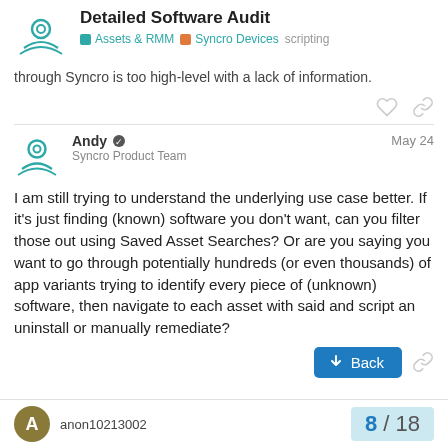Detailed Software Audit — Assets & RMM | Syncro Devices | scripting
through Syncro is too high-level with a lack of information.
Andy  Syncro Product Team  May 24
I am still trying to understand the underlying use case better. If it's just finding (known) software you don't want, can you filter those out using Saved Asset Searches? Or are you saying you want to go through potentially hundreds (or even thousands) of app variants trying to identify every piece of (unknown) software, then navigate to each asset with said and script an uninstall or manually remediate?
anon10213002
8 / 18